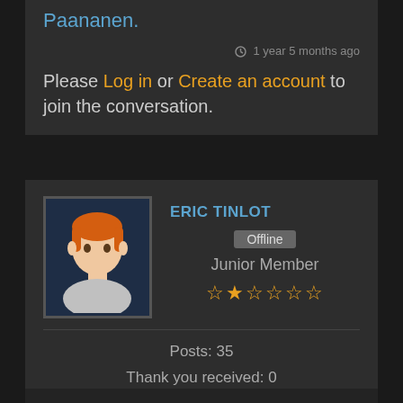Paananen.
1 year 5 months ago
Please Log in or Create an account to join the conversation.
ERIC TINLOT
Offline
Junior Member
Posts: 35
Thank you received: 0